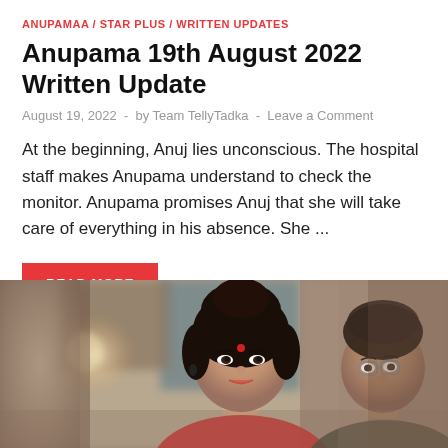ANUPAMAA / STAR PLUS / WRITTEN UPDATES
Anupama 19th August 2022 Written Update
August 19, 2022 - by Team TellyTadka - Leave a Comment
At the beginning, Anuj lies unconscious. The hospital staff makes Anupama understand to check the monitor. Anupama promises Anuj that she will take care of everything in his absence. She ...
READ MORE
[Figure (photo): Two people from Indian TV show Anupamaa — a woman (Anupama) in the center foreground with dark hair tied up and red bindi, wearing red, and a man with glasses on the right, slightly blurred background with warm tones]